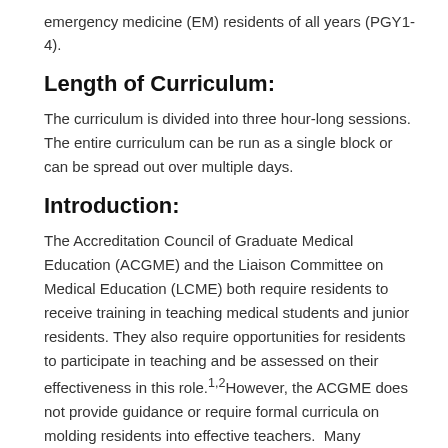emergency medicine (EM) residents of all years (PGY1-4).
Length of Curriculum:
The curriculum is divided into three hour-long sessions.  The entire curriculum can be run as a single block or can be spread out over multiple days.
Introduction:
The Accreditation Council of Graduate Medical Education (ACGME) and the Liaison Committee on Medical Education (LCME) both require residents to receive training in teaching medical students and junior residents. They also require opportunities for residents to participate in teaching and be assessed on their effectiveness in this role.1,2However, the ACGME does not provide guidance or require formal curricula on molding residents into effective teachers.  Many programs and